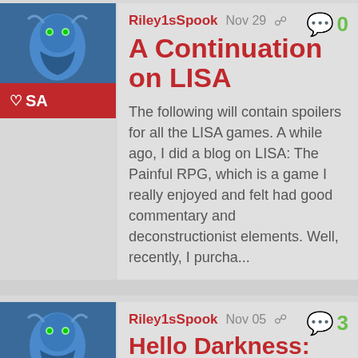[Figure (illustration): Blue fantasy character avatar thumbnail]
♡SA
Riley1sSpook  Nov 29
0 comments
A Continuation on LISA
The following will contain spoilers for all the LISA games. A while ago, I did a blog on LISA: The Painful RPG, which is a game I really enjoyed and felt had good commentary and deconstructionist elements. Well, recently, I purcha...
[Figure (illustration): Blue fantasy character avatar thumbnail]
♡45
Riley1sSpook  Nov 05
3 comments
Hello Darkness: The Assorted Villains of F.E.A.R.